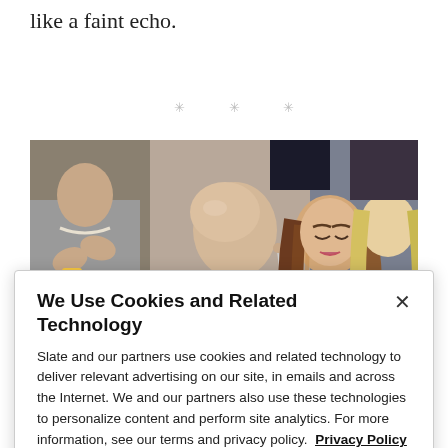like a faint echo.
[Figure (photo): Crowd scene with people applauding; a woman with long brown hair (Melania Trump) receiving a medal or pin from a bald man in a suit.]
We Use Cookies and Related Technology
Slate and our partners use cookies and related technology to deliver relevant advertising on our site, in emails and across the Internet. We and our partners also use these technologies to personalize content and perform site analytics. For more information, see our terms and privacy policy.  Privacy Policy
OK